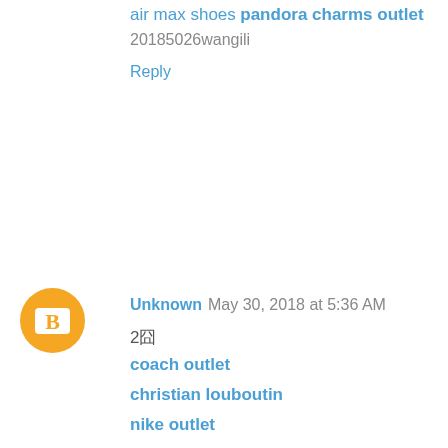air max shoes
pandora charms outlet
20185026wangili
Reply
[Figure (illustration): Blogger avatar icon - orange circle with white B letter]
Unknown   May 30, 2018 at 5:36 AM
2囧
coach outlet
christian louboutin
nike outlet
cheap jordans
fitflops sale clearance
reebok outlet store
golden goose